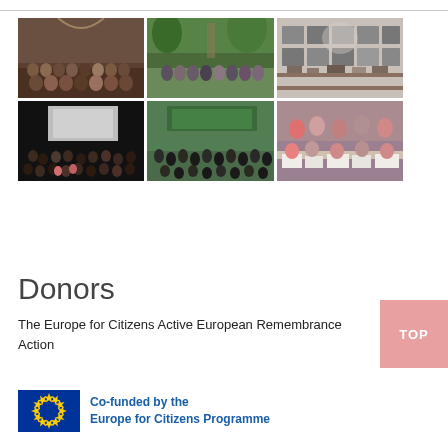[Figure (photo): Grid of 6 photos showing groups of people at events and conferences related to European remembrance activities. Top row: group photo indoors, group photo outdoors, exhibition with photos on wall. Bottom row: audience in dark auditorium, large conference room with attendees, people working at tables.]
Donors
The Europe for Citizens Active European Remembrance Action
[Figure (logo): EU flag logo with text 'Co-funded by the Europe for Citizens Programme']